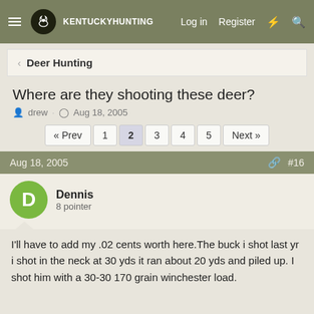Kentucky Hunting — Log in  Register
< Deer Hunting
Where are they shooting these deer?
drew · Aug 18, 2005
« Prev  1  2  3  4  5  Next »
Aug 18, 2005  #16
Dennis
8 pointer
I'll have to add my .02 cents worth here.The buck i shot last yr i shot in the neck at 30 yds it ran about 20 yds and piled up. I shot him with a 30-30 170 grain winchester load.